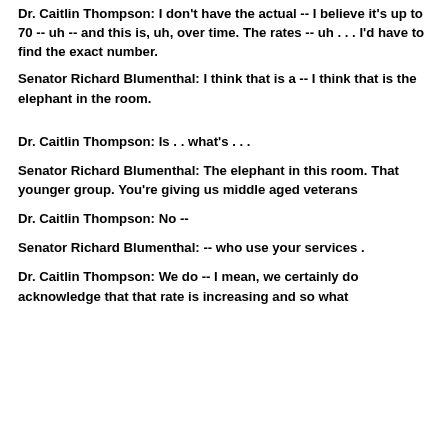Dr. Caitlin Thompson:  I don't have the actual -- I believe it's up to 70 -- uh -- and this is, uh, over time.  The rates -- uh . . . I'd have to find the exact number.
Senator Richard Blumenthal:  I think that is a -- I think that is the elephant in the room.
Dr. Caitlin Thompson:   Is . . what's . . .
Senator Richard Blumenthal:  The elephant in this room.  That younger group.  You're giving us middle aged veterans
Dr. Caitlin Thompson:  No --
Senator Richard Blumenthal:  -- who use your services .
Dr. Caitlin Thompson:  We do -- I mean, we certainly do acknowledge that that rate is increasing and so what